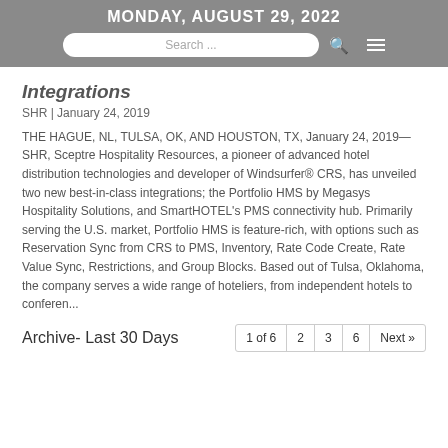MONDAY, AUGUST 29, 2022
Integrations
SHR | January 24, 2019
THE HAGUE, NL, TULSA, OK, AND HOUSTON, TX, January 24, 2019—SHR, Sceptre Hospitality Resources, a pioneer of advanced hotel distribution technologies and developer of Windsurfer® CRS, has unveiled two new best-in-class integrations; the Portfolio HMS by Megasys Hospitality Solutions, and SmartHOTEL's PMS connectivity hub. Primarily serving the U.S. market, Portfolio HMS is feature-rich, with options such as Reservation Sync from CRS to PMS, Inventory, Rate Code Create, Rate Value Sync, Restrictions, and Group Blocks. Based out of Tulsa, Oklahoma, the company serves a wide range of hoteliers, from independent hotels to conferen...
Archive- Last 30 Days
1 of 6 | 2 | 3 | 6 | Next »